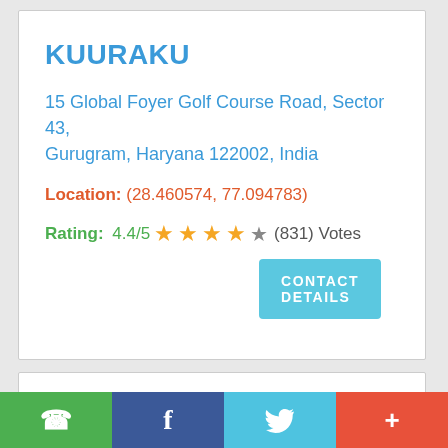KUURAKU
15 Global Foyer Golf Course Road, Sector 43, Gurugram, Haryana 122002, India
Location: (28.460574, 77.094783)
Rating: 4.4/5 ★★★★☆ (831) Votes
CONTACT DETAILS
WhatsApp | Facebook | Twitter | +